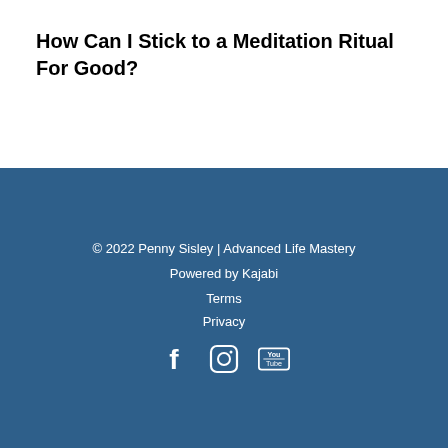How Can I Stick to a Meditation Ritual For Good?
© 2022 Penny Sisley | Advanced Life Mastery
Powered by Kajabi
Terms
Privacy